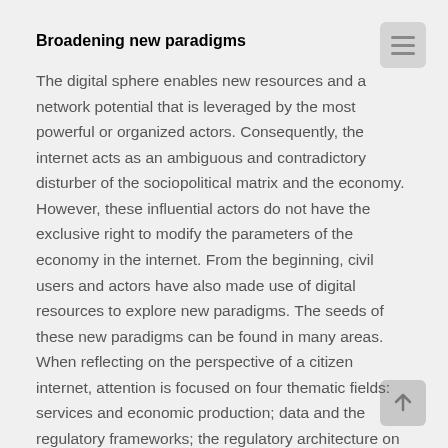Broadening new paradigms
The digital sphere enables new resources and a network potential that is leveraged by the most powerful or organized actors. Consequently, the internet acts as an ambiguous and contradictory disturber of the sociopolitical matrix and the economy. However, these influential actors do not have the exclusive right to modify the parameters of the economy in the internet. From the beginning, civil users and actors have also made use of digital resources to explore new paradigms. The seeds of these new paradigms can be found in many areas. When reflecting on the perspective of a citizen internet, attention is focused on four thematic fields: services and economic production; data and the regulatory frameworks; the regulatory architecture on the web; the radicalization of democracy.